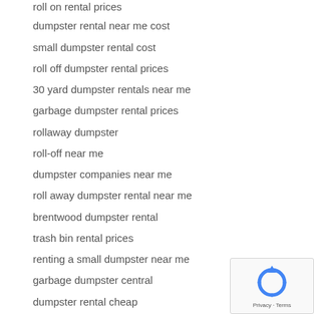roll on rental prices
dumpster rental near me cost
small dumpster rental cost
roll off dumpster rental prices
30 yard dumpster rentals near me
garbage dumpster rental prices
rollaway dumpster
roll-off near me
dumpster companies near me
roll away dumpster rental near me
brentwood dumpster rental
trash bin rental prices
renting a small dumpster near me
garbage dumpster central
dumpster rental cheap